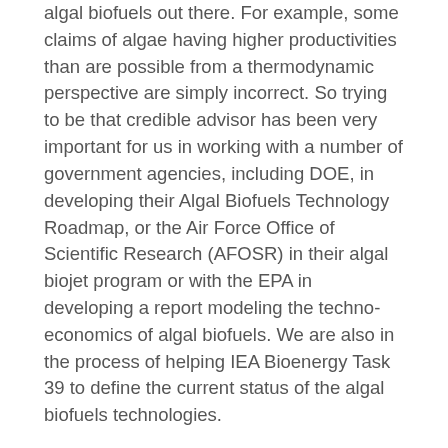algal biofuels out there. For example, some claims of algae having higher productivities than are possible from a thermodynamic perspective are simply incorrect. So trying to be that credible advisor has been very important for us in working with a number of government agencies, including DOE, in developing their Algal Biofuels Technology Roadmap, or the Air Force Office of Scientific Research (AFOSR) in their algal biojet program or with the EPA in developing a report modeling the techno-economics of algal biofuels. We are also in the process of helping IEA Bioenergy Task 39 to define the current status of the algal biofuels technologies.
We've also been working with Chevron for almost the last three years to identify and develop algal strains that can be economically processed into liquid transportation fuels. In addition to Chevron, some of the other major petroleum companies are funding algal